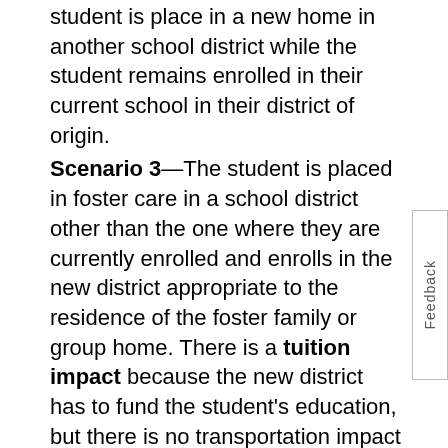student is place in a new home in another school district while the student remains enrolled in their current school in their district of origin.
Scenario 3—The student is placed in foster care in a school district other than the one where they are currently enrolled and enrolls in the new district appropriate to the residence of the foster family or group home. There is a tuition impact because the new district has to fund the student's education, but there is no transportation impact under current law.
A chart demonstrating what happens when a student is placed in a new home in another school district and the student transfers school to the district of placement.
Financial impacts on districts